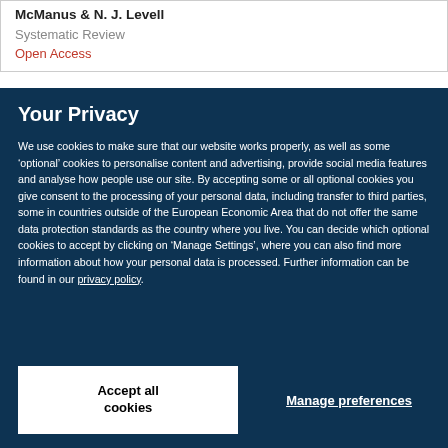McManus & N. J. Levell
Systematic Review
Open Access
Your Privacy
We use cookies to make sure that our website works properly, as well as some ‘optional’ cookies to personalise content and advertising, provide social media features and analyse how people use our site. By accepting some or all optional cookies you give consent to the processing of your personal data, including transfer to third parties, some in countries outside of the European Economic Area that do not offer the same data protection standards as the country where you live. You can decide which optional cookies to accept by clicking on ‘Manage Settings’, where you can also find more information about how your personal data is processed. Further information can be found in our privacy policy.
Accept all cookies
Manage preferences